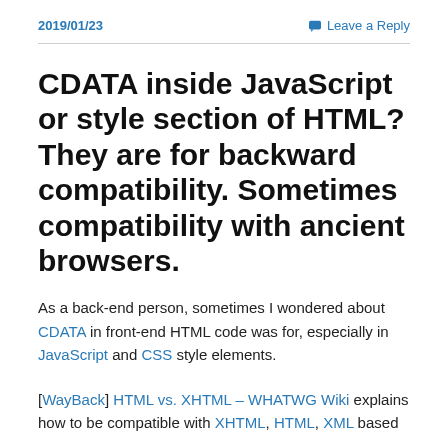2019/01/23   Leave a Reply
CDATA inside JavaScript or style section of HTML? They are for backward compatibility. Sometimes compatibility with ancient browsers.
As a back-end person, sometimes I wondered about CDATA in front-end HTML code was for, especially in JavaScript and CSS style elements.
[WayBack] HTML vs. XHTML – WHATWG Wiki explains how to be compatible with XHTML, HTML, XML based